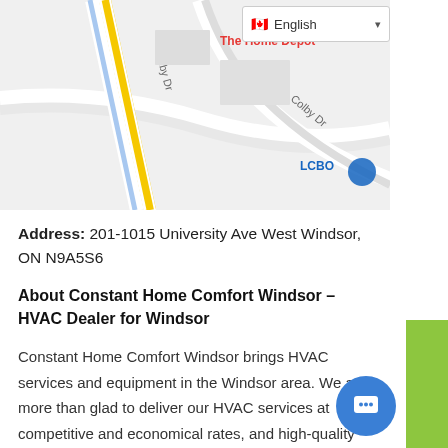[Figure (map): Google Maps screenshot showing area near University Ave West Windsor, with roads including Colby Dr, and landmarks including The Home Depot and LCBO]
Address: 201-1015 University Ave West Windsor, ON N9A5S6
About Constant Home Comfort Windsor – HVAC Dealer for Windsor
Constant Home Comfort Windsor brings HVAC services and equipment in the Windsor area. We are more than glad to deliver our HVAC services at competitive and economical rates, and high-quality products that don't let you sacrifice on quality. Our goal is to ensure that you receive low rates on your HVAC needs, while still receiving top of the line products and services.
Our HVAC products are ranging from furnaces a...